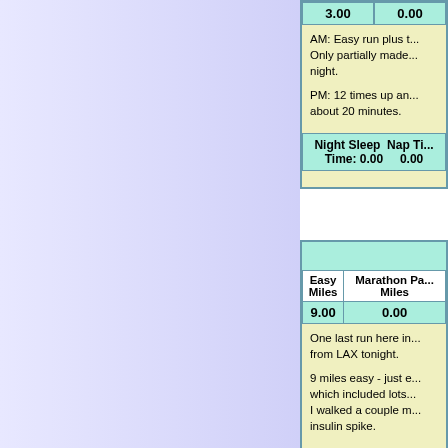| 3.00 | 0.00 |
| --- | --- |
AM: Easy run plus t... Only partially made... night.

PM: 12 times up an... about 20 minutes.
| Night Sleep Time: 0.00 | Nap Ti... 0.00 |
| --- | --- |
| Easy Miles | Marathon Pa... Miles |
| --- | --- |
| 9.00 | 0.00 |
One last run here in... from LAX tonight.

9 miles easy - just e... which included lots... I walked a couple m... insulin spike.
| Night Slee... | Na... Ti... |
| --- | --- |